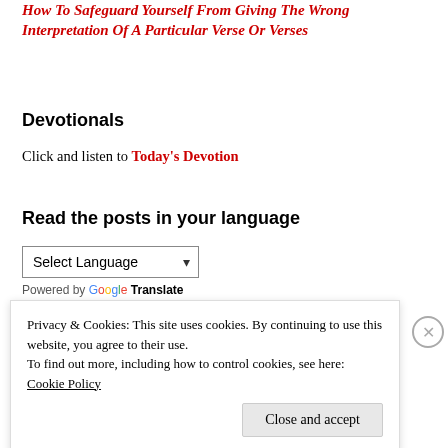How To Safeguard Yourself From Giving The Wrong Interpretation Of A Particular Verse Or Verses
Devotionals
Click and listen to Today's Devotion
Read the posts in your language
[Figure (screenshot): Language selector dropdown showing 'Select Language' with a chevron, followed by 'Powered by Google Translate']
Privacy & Cookies: This site uses cookies. By continuing to use this website, you agree to their use.
To find out more, including how to control cookies, see here:
Cookie Policy
Close and accept